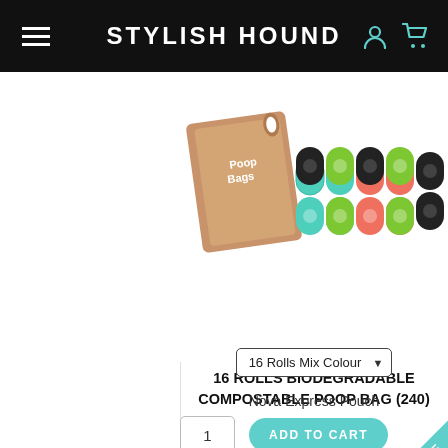STYLISH HOUND
[Figure (photo): Product photo showing Poop Bags packaging box alongside multiple colorful rolls of biodegradable compostable poop bags in teal/green, orange/coral, black, and bright green colors]
16 ROLLS BIODEGRADABLE COMPOSTABLE POOP BAG (240)
16 Rolls Mix Colour
Nova Express Pouch
1  ADD TO CART
10% OFF